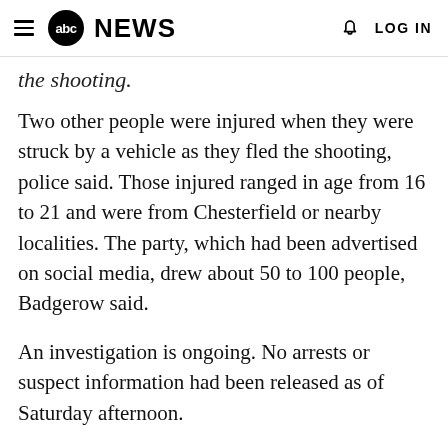≡ abc NEWS  🔔 LOG IN
the shooting.
Two other people were injured when they were struck by a vehicle as they fled the shooting, police said. Those injured ranged in age from 16 to 21 and were from Chesterfield or nearby localities. The party, which had been advertised on social media, drew about 50 to 100 people, Badgerow said.
An investigation is ongoing. No arrests or suspect information had been released as of Saturday afternoon.
The party took place in a residential area of